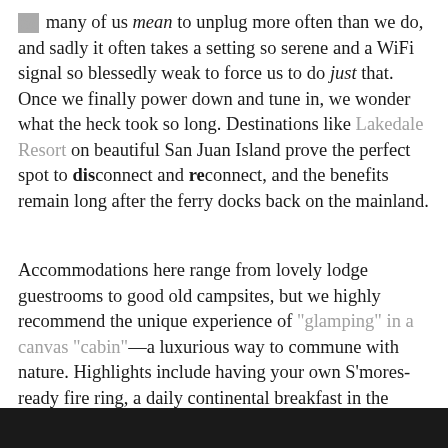So many of us mean to unplug more often than we do, and sadly it often takes a setting so serene and a WiFi signal so blessedly weak to force us to do just that. Once we finally power down and tune in, we wonder what the heck took so long. Destinations like Lakedale Resort on beautiful San Juan Island prove the perfect spot to disconnect and reconnect, and the benefits remain long after the ferry docks back on the mainland.
Accommodations here range from lovely lodge guestrooms to good old campsites, but we highly recommend the unique experience of "glamping" in a canvas "cabin"—a luxurious way to commune with nature. Highlights include having your own S'mores-ready fire ring, a daily continental breakfast in the friendly Mess Tent and a "Toasty Toes" turndown service that means the decadent delivery of hot water bottles to the "front porch" every evening.
[Figure (photo): Dark photograph at the bottom of the page, partially visible]